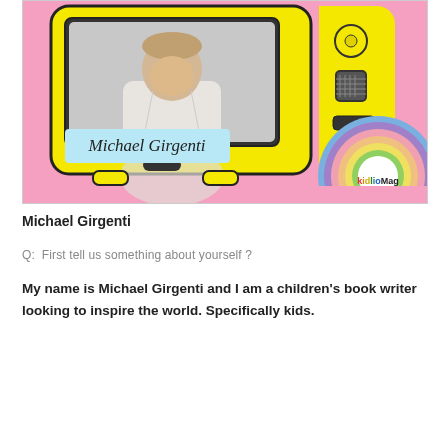[Figure (illustration): Colorful retro TV illustration on pink background showing a man in a white hoodie inside the screen. Yellow TV frame with knobs and controls. A light blue name tag reads 'Michael Girgenti' in cursive. A rainbow circle with 'kidlioMag' logo appears in the bottom right.]
Michael Girgenti
Q:  First tell us something about yourself ?
My name is Michael Girgenti and I am a children's book writer looking to inspire the world. Specifically kids.